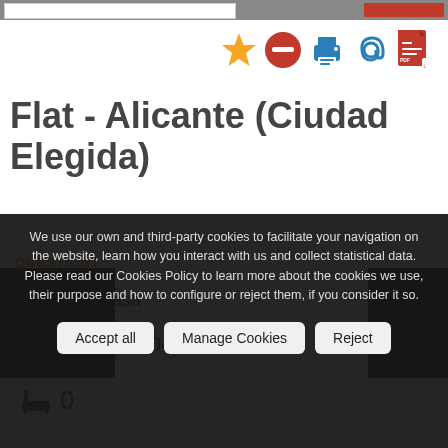[Figure (screenshot): Row of action icons: gold star, red minus/remove circle, blue printer, blue at-sign (@), red PDF icon]
Flat - Alicante (Ciudad Elegida)
Androcasa
☎ 965 225 404
🛁 0
We use our own and third-party cookies to facilitate your navigation on the website, learn how you interact with us and collect statistical data. Please read our Cookies Policy to learn more about the cookies we use, their purpose and how to configure or reject them, if you consider it so.
Accept all | Manage Cookies | Reject
QUESTION?